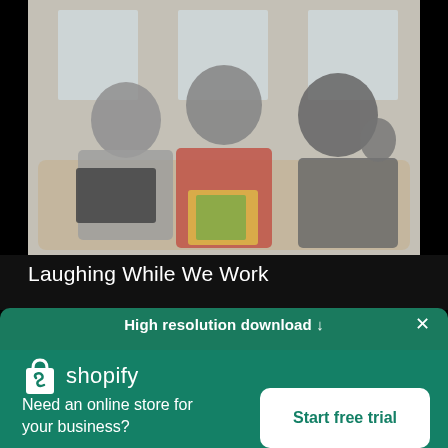[Figure (photo): Three people sitting on a couch, blurred background, one in red sweater holding colorful items, others with laptops]
Laughing While We Work
High resolution download ↓
[Figure (logo): Shopify logo - shopping bag icon and 'shopify' wordmark in white on green background]
Need an online store for your business?
Start free trial